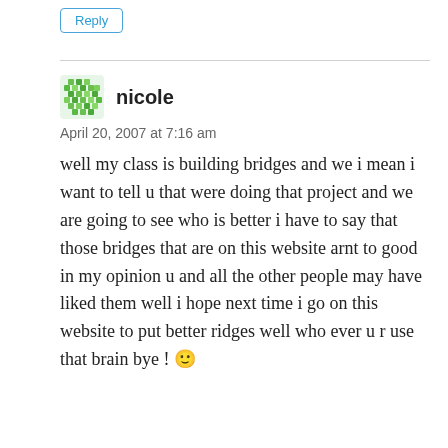Reply
nicole
April 20, 2007 at 7:16 am
well my class is building bridges and we i mean i want to tell u that were doing that project and we are going to see who is better i have to say that those bridges that are on this website arnt to good in my opinion u and all the other people may have liked them well i hope next time i go on this website to put better ridges well who ever u r use that brain bye ! 🙂